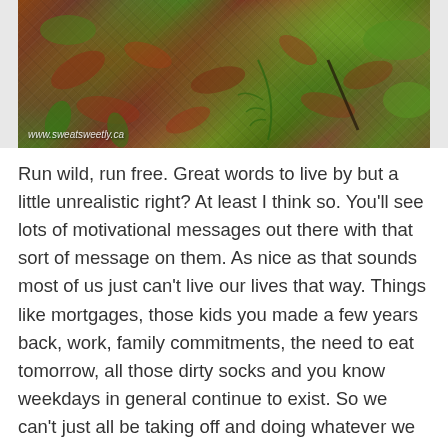[Figure (photo): Nature photo showing forest floor with colorful autumn leaves, moss, and ferns. Watermark reads www.sweatsweetly.ca]
Run wild, run free. Great words to live by but a little unrealistic right? At least I think so. You'll see lots of motivational messages out there with that sort of message on them. As nice as that sounds most of us just can't live our lives that way. Things like mortgages, those kids you made a few years back, work, family commitments, the need to eat tomorrow, all those dirty socks and you know weekdays in general continue to exist. So we can't just all be taking off and doing whatever we want, whenever we want.
It would be nice to live that way but you can't live as a wild free hedonist. Taking the time to workout, doing something you love, is probably the closest